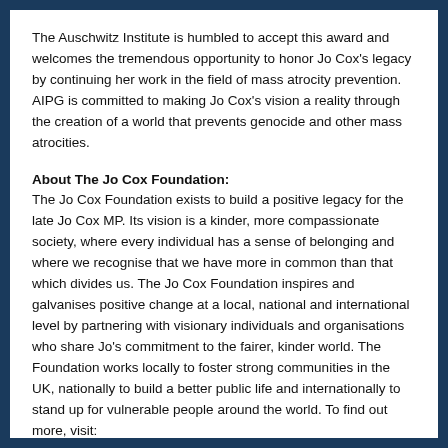The Auschwitz Institute is humbled to accept this award and welcomes the tremendous opportunity to honor Jo Cox's legacy by continuing her work in the field of mass atrocity prevention. AIPG is committed to making Jo Cox's vision a reality through the creation of a world that prevents genocide and other mass atrocities.
About The Jo Cox Foundation:
The Jo Cox Foundation exists to build a positive legacy for the late Jo Cox MP. Its vision is a kinder, more compassionate society, where every individual has a sense of belonging and where we recognise that we have more in common than that which divides us. The Jo Cox Foundation inspires and galvanises positive change at a local, national and international level by partnering with visionary individuals and organisations who share Jo's commitment to the fairer, kinder world. The Foundation works locally to foster strong communities in the UK, nationally to build a better public life and internationally to stand up for vulnerable people around the world. To find out more, visit: